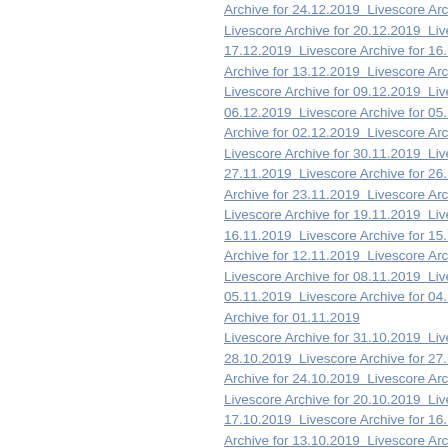Archive for 24.12.2019  Livescore Archive fo  Livescore Archive for 20.12.2019  Livescore 17.12.2019  Livescore Archive for 16.12.201 Archive for 13.12.2019  Livescore Archive fo Livescore Archive for 09.12.2019  Livescore 06.12.2019  Livescore Archive for 05.12.201 Archive for 02.12.2019  Livescore Archive for Livescore Archive for 30.11.2019  Livescore 27.11.2019  Livescore Archive for 26.11.201 Archive for 23.11.2019  Livescore Archive fo Livescore Archive for 19.11.2019  Livescore 16.11.2019  Livescore Archive for 15.11.201 Archive for 12.11.2019  Livescore Archive fo Livescore Archive for 08.11.2019  Livescore 05.11.2019  Livescore Archive for 04.11.201 Archive for 01.11.2019 Livescore Archive for 31.10.2019  Livescore 28.10.2019  Livescore Archive for 27.10.201 Archive for 24.10.2019  Livescore Archive fo Livescore Archive for 20.10.2019  Livescore 17.10.2019  Livescore Archive for 16.10.201 Archive for 13.10.2019  Livescore Archive fo Livescore Archive for 09.10.2019  Livescore 06.10.2019  Livescore Archive for 05.10.201 Archive for 02.10.2019  Livescore Archive for Livescore Archive for 30.09.2019  Livescore